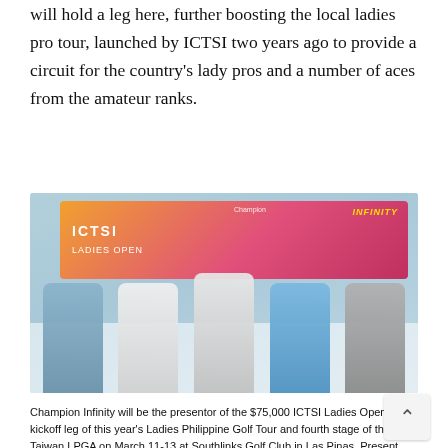will hold a leg here, further boosting the local ladies pro tour, launched by ICTSI two years ago to provide a circuit for the country's lady pros and a number of aces from the amateur ranks.
[Figure (photo): Group photo of five people seated at a table in front of an ICTSI Ladies Open / Champion Infinity banner. Contract signing event for the $75,000 ICTSI Ladies Open golf tournament.]
Champion Infinity will be the presentor of the $75,000 ICTSI Ladies Open, the kickoff leg of this year's Ladies Philippine Golf Tour and fourth stage of the Taiwan LPGA on March 11-13 at Southlinks Golf Club in Las Pinas. Present during the contract signing are (from left) Carlos Bacani, marketing manager of Peerless Products Manufacturing Corp. (PEPMACO), Pilipinas Golf Tournaments, Inc. general manager Colo Ventosa, PEPMACO vice presid sales and marketing Jasper Tiu; and tournament managers Luigi Tabuena a Cho Minn Thant. The event will feature players from Taiwan, Thailand, Korea